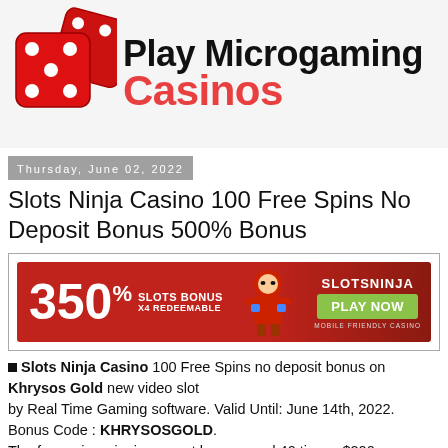[Figure (logo): Play Microgaming Casinos logo with red dice and bold black/red text]
Thursday, June 02, 2022
Slots Ninja Casino 100 Free Spins No Deposit Bonus 500% Bonus
[Figure (illustration): Slots Ninja Casino banner ad: 350% Slots Bonus X4 Redeemable, ninja character, SLOTSNINJA PLAY NOW button, Mobile Friendly Casino]
■ Slots Ninja Casino 100 Free Spins no deposit bonus on Khrysos Gold new video slot
by Real Time Gaming software. Valid Until: June 14th, 2022. Bonus Code : KHRYSOSGOLD.
The free spins winnings must be wagered 40 times. $200